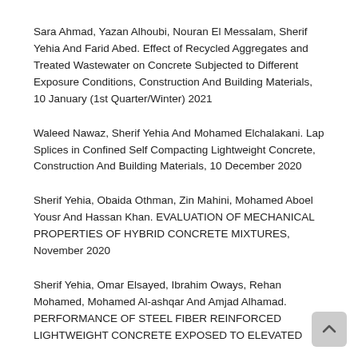Sara Ahmad, Yazan Alhoubi, Nouran El Messalam, Sherif Yehia And Farid Abed. Effect of Recycled Aggregates and Treated Wastewater on Concrete Subjected to Different Exposure Conditions, Construction And Building Materials, 10 January (1st Quarter/Winter) 2021
Waleed Nawaz, Sherif Yehia And Mohamed Elchalakani. Lap Splices in Confined Self Compacting Lightweight Concrete, Construction And Building Materials, 10 December 2020
Sherif Yehia, Obaida Othman, Zin Mahini, Mohamed Aboel Yousr And Hassan Khan. EVALUATION OF MECHANICAL PROPERTIES OF HYBRID CONCRETE MIXTURES, November 2020
Sherif Yehia, Omar Elsayed, Ibrahim Oways, Rehan Mohamed, Mohamed Al-ashqar And Amjad Alhamad. PERFORMANCE OF STEEL FIBER REINFORCED LIGHTWEIGHT CONCRETE EXPOSED TO ELEVATED